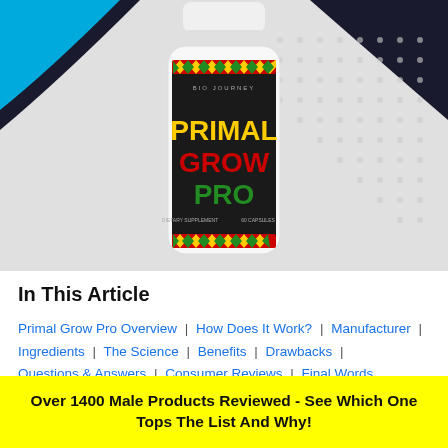[Figure (photo): Product photo of Primal Grow Pro supplement bottle with black label, colorful geometric diamond pattern border in red/green/yellow, on a light gray/white background with blue arc design and dot pattern]
In This Article
Primal Grow Pro Overview | How Does It Work? | Manufacturer | Ingredients | The Science | Benefits | Drawbacks | Questions & Answers | Consumer Reviews | Final Words
Over 1400 Male Products Reviewed - See Which One Tops The List And Why!